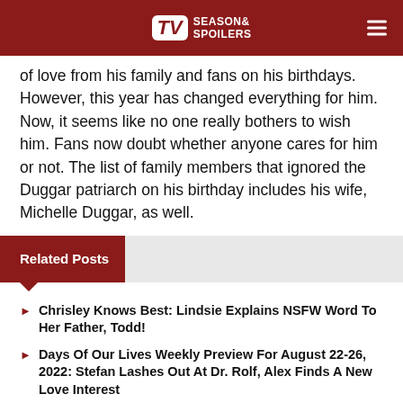TV Season & Spoilers
of love from his family and fans on his birthdays. However, this year has changed everything for him. Now, it seems like no one really bothers to wish him. Fans now doubt whether anyone cares for him or not. The list of family members that ignored the Duggar patriarch on his birthday includes his wife, Michelle Duggar, as well.
Related Posts
Chrisley Knows Best: Lindsie Explains NSFW Word To Her Father, Todd!
Days Of Our Lives Weekly Preview For August 22-26, 2022: Stefan Lashes Out At Dr. Rolf, Alex Finds A New Love Interest
LPBW: Tori Deletes Social Media Post About 'Slow Death,' Is She Okay?